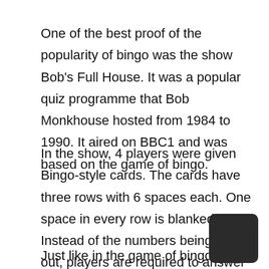One of the best proof of the popularity of bingo was the show Bob’s Full House. It was a popular quiz programme that Bob Monkhouse hosted from 1984 to 1990. It aired on BBC1 and was based on the game of bingo.
In the show, 4 players were given Bingo-style cards. The cards have three rows with 6 spaces each. One space in every row is blanked. Instead of the numbers being called out, players are required to answer questions. If they answer correctly, the number lights up.
Just like in the game of bingo, the players have to